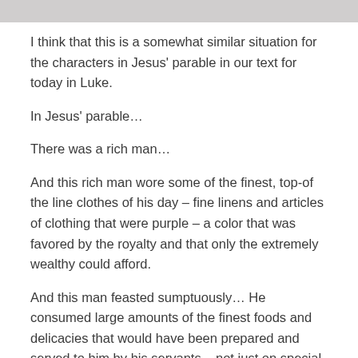[Figure (photo): Partial image strip visible at the top of the page, cropped.]
I think that this is a somewhat similar situation for the characters in Jesus' parable in our text for today in Luke.
In Jesus' parable…
There was a rich man…
And this rich man wore some of the finest, top-of the line clothes of his day – fine linens and articles of clothing that were purple – a color that was favored by the royalty and that only the extremely wealthy could afford.
And this man feasted sumptuously… He consumed large amounts of the finest foods and delicacies that would have been prepared and served to him by his servants – not just on special occasions, as feasts were saved for – but